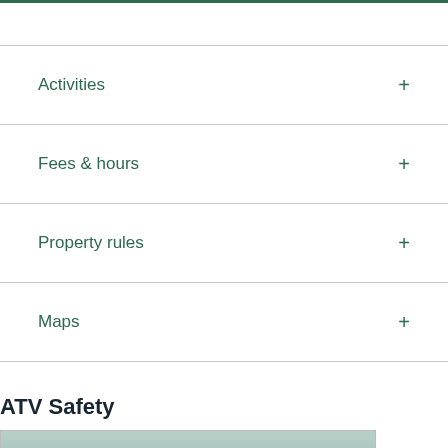Activities
Fees & hours
Property rules
Maps
ATV Safety
[Figure (photo): Two people riding ATVs on a trail with trees and sky in background]